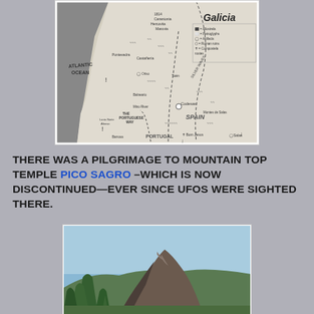[Figure (map): Black and white map of Galicia region showing the Atlantic Ocean coastline, pilgrimage routes including The Portuguese Way, locations such as Codesas, Bom Jesus, Salas, Spain, Portugal labels, and various towns and landmarks.]
THERE WAS A PILGRIMAGE TO MOUNTAIN TOP TEMPLE PICO SAGRO –WHICH IS NOW DISCONTINUED—EVER SINCE UFOs WERE SIGHTED THERE.
[Figure (photo): Color photograph of Pico Sagro mountain peak with a clear blue sky, trees in the foreground, and the rocky summit visible.]